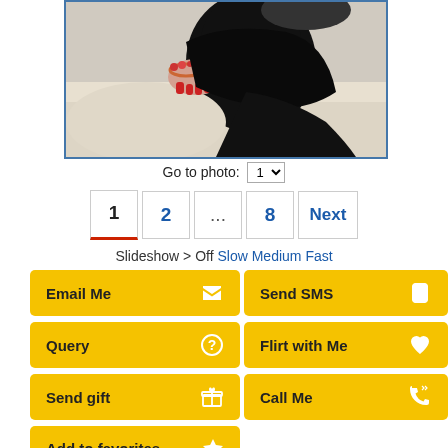[Figure (photo): Partial photo of a woman in a black outfit, sitting on what appears to be a light-colored surface, with red nail polish visible on her hand, and bracelets on her wrist.]
Go to photo: 1
1  2  ...  8  Next
Slideshow > Off Slow Medium Fast
Email Me
Send SMS
Query
Flirt with Me
Send gift
Call Me
Add to favorites
Age: 34
Date of birth: March 4, 1989